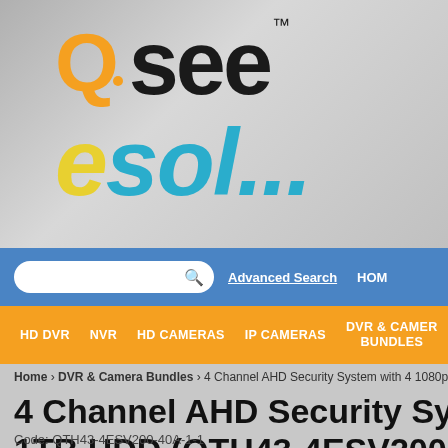[Figure (logo): Q-see eSol... logo on grey gradient background. Q in orange, see in black with TM mark, eSol... in yellow italic e and teal/blue italic sol...]
Advanced Search  HOME
HD DVR  NVR  HD CAMERAS  IP CAMERAS  DVR & CAMERA BUNDLES
Home › DVR & Camera Bundles › 4 Channel AHD Security System with 4 1080p Va
4 Channel AHD Security System with 4 1080p Va... 1TB HDD (QTH43-4ESV200-40A...
Code: QTH43-4ESV200-40A-1-1